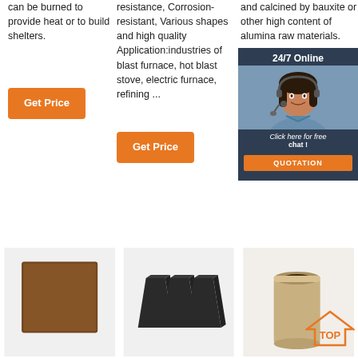can be burned to provide heat or to build shelters.
resistance, Corrosion-resistant, Various shapes and high quality Application:industries of blast furnace, hot blast stove, electric furnace, refining ...
and calcined by bauxite or other high content of alumina raw materials. Samples evaluated refract... sample...
[Figure (screenshot): 24/7 Online chat overlay with customer service representative photo, free chat offer, and QUOTATION button]
[Figure (photo): Brown flat rectangular refractory brick/tile product on white background]
[Figure (photo): Three dark gray/black trapezoidal refractory blocks on white background]
[Figure (photo): Tan/beige cylindrical refractory crucible/cup on white background with TOP badge overlay]